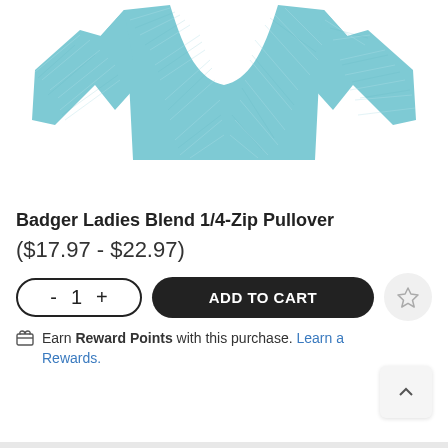[Figure (photo): A teal/blue heathered space-dye long-sleeve 1/4-zip pullover shirt displayed on a white background, showing the torso and sleeves.]
Badger Ladies Blend 1/4-Zip Pullover
($17.97 - $22.97)
- 1 +   ADD TO CART   ☆
Earn Reward Points with this purchase. Learn a Rewards.